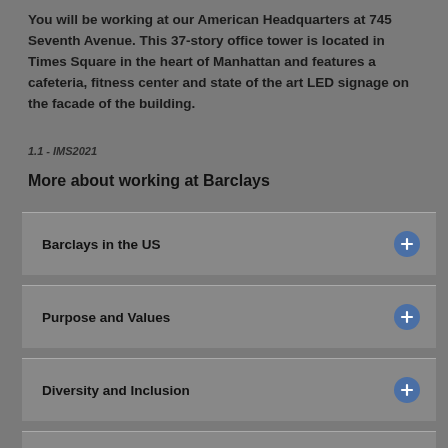You will be working at our American Headquarters at 745 Seventh Avenue. This 37-story office tower is located in Times Square in the heart of Manhattan and features a cafeteria, fitness center and state of the art LED signage on the facade of the building.
1.1 - IMS2021
More about working at Barclays
Barclays in the US
Purpose and Values
Diversity and Inclusion